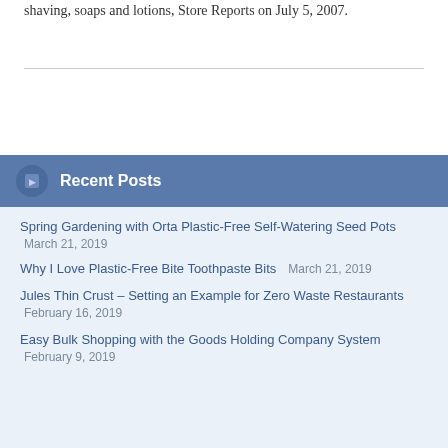This entry was posted in deodorant, Expired, hair-care, shaving, soaps and lotions, Store Reports on July 5, 2007.
Recent Posts
Spring Gardening with Orta Plastic-Free Self-Watering Seed Pots — March 21, 2019
Why I Love Plastic-Free Bite Toothpaste Bits — March 21, 2019
Jules Thin Crust – Setting an Example for Zero Waste Restaurants — February 16, 2019
Easy Bulk Shopping with the Goods Holding Company System — February 9, 2019